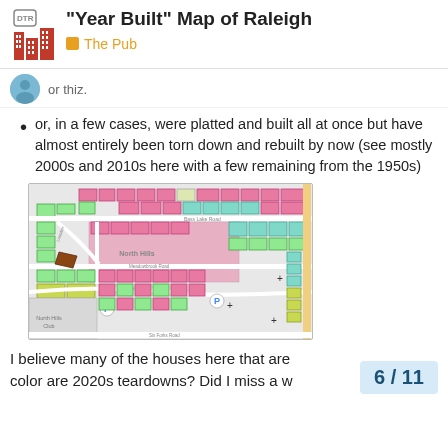"Year Built" Map of Raleigh — The Pub
or thiz.
or, in a few cases, were platted and built all at once but have almost entirely been torn down and rebuilt by now (see mostly 2000s and 2010s here with a few remaining from the 1950s)
[Figure (map): Color-coded map of North Hills area of Raleigh showing year built by parcel, with pink/magenta representing 2000s-2010s construction and green representing older structures from the 1950s. Shows North Hills Club area with street network.]
I believe many of the houses here that are color are 2020s teardowns? Did I miss a w
6 / 11